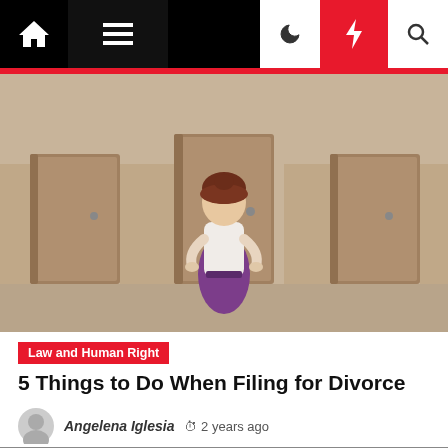[Figure (screenshot): Website navigation bar with home icon, hamburger menu, dark background, moon/dark-mode icon, red lightning bolt icon, and search icon]
[Figure (illustration): Cartoon illustration of a woman with brown hair wearing a white top and purple skirt, standing with hands on hips in front of multiple closed doors on a beige/tan background]
Law and Human Right
5 Things to Do When Filing for Divorce
Angelena Iglesia  ⏱ 2 years ago
[Figure (photo): Partially visible grey/dark image at the bottom of the page]